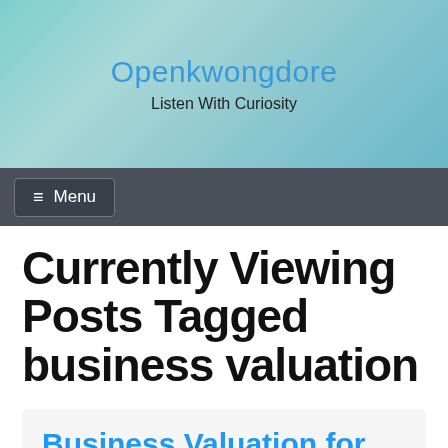Openkwongdore
Listen With Curiosity
≡ Menu
Currently Viewing Posts Tagged business valuation
Business Valuation for Electrical Contracting Companies Common